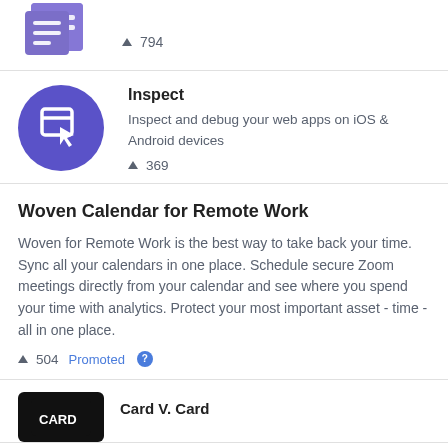[Figure (illustration): Purple document icon with upvote triangle and count 794]
▲ 794
[Figure (illustration): Purple circle icon with cursor/inspect pointer symbol]
Inspect
Inspect and debug your web apps on iOS & Android devices
▲ 369
Woven Calendar for Remote Work
Woven for Remote Work is the best way to take back your time. Sync all your calendars in one place. Schedule secure Zoom meetings directly from your calendar and see where you spend your time with analytics. Protect your most important asset - time - all in one place.
▲ 504   Promoted
[Figure (illustration): Black rectangle card icon (Card V. Card app)]
Card V. Card